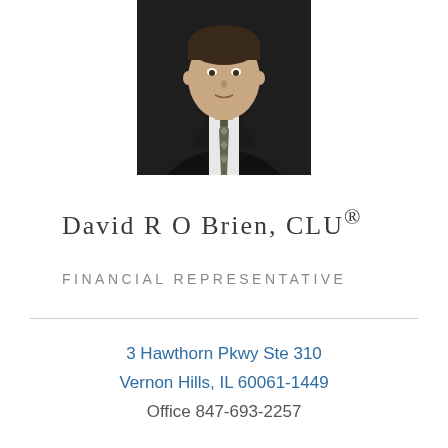[Figure (photo): Professional headshot of a man in a dark suit and patterned tie against a dark background]
David R O Brien, CLU®
FINANCIAL REPRESENTATIVE
3 Hawthorn Pkwy Ste 310
Vernon Hills, IL 60061-1449
Office 847-693-2257